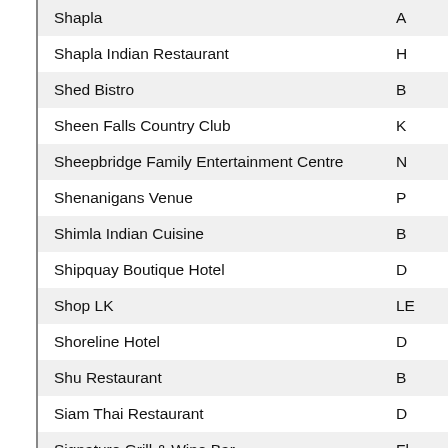|  | Name | Location |
| --- | --- | --- |
|  | Shapla | A… |
|  | Shapla Indian Restaurant | H… |
|  | Shed Bistro | B… |
|  | Sheen Falls Country Club | K… |
|  | Sheepbridge Family Entertainment Centre | N… |
|  | Shenanigans Venue | P… |
|  | Shimla Indian Cuisine | B… |
|  | Shipquay Boutique Hotel | D… |
|  | Shop LK | LE… |
|  | Shoreline Hotel | D… |
|  | Shu Restaurant | B… |
|  | Siam Thai Restaurant | D… |
|  | Signature Grill & Wine Bar | Fl… |
|  | Silken Thomas | K… |
|  | Silkys Bistro | D… |
|  | Silver Tassie Hotel | LE… |
|  | Silverbirch Hotel | O… |
|  | Simply Fish And Chips | B… |